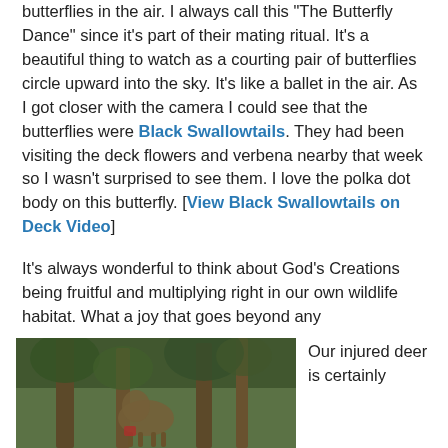butterflies in the air. I always call this "The Butterfly Dance" since it's part of their mating ritual. It's a beautiful thing to watch as a courting pair of butterflies circle upward into the sky. It's like a ballet in the air. As I got closer with the camera I could see that the butterflies were Black Swallowtails. They had been visiting the deck flowers and verbena nearby that week so I wasn't surprised to see them. I love the polka dot body on this butterfly. [View Black Swallowtails on Deck Video]
It's always wonderful to think about God's Creations being fruitful and multiplying right in our own wildlife habitat. What a joy that goes beyond any entertainment venue we could choose. No wonder we have no television reception and don't go to movies. There's too much excitement right outside our doors. For more information, here's a great article on Butterfly Mating.
[Figure (photo): Photo of a deer among trees and foliage in a forest/woodland setting]
Our injured deer is certainly